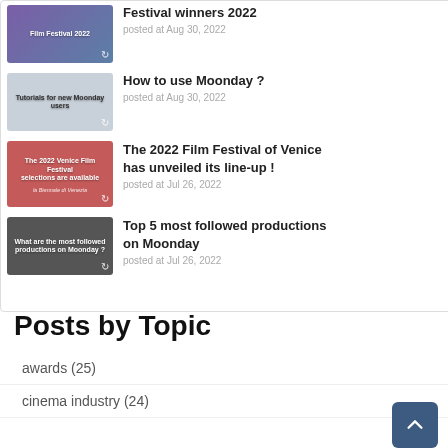[Figure (screenshot): Thumbnail for Film Festival 2022 article - purple/blue gradient background with white text]
Festival winners 2022
posted at Aug 30, 2022
[Figure (screenshot): Thumbnail for Moonday tutorials article - grey background with phone image]
How to use Moonday ?
posted at Aug 30, 2022
[Figure (screenshot): Thumbnail for Venice Film Festival article - red background with white dove silhouette]
The 2022 Film Festival of Venice has unveiled its line-up !
posted at Jul 26, 2022
[Figure (screenshot): Thumbnail for Top 5 most followed productions article - dark grey background]
Top 5 most followed productions on Moonday
posted at Jul 26, 2022
Posts by Topic
awards (25)
cinema industry (24)